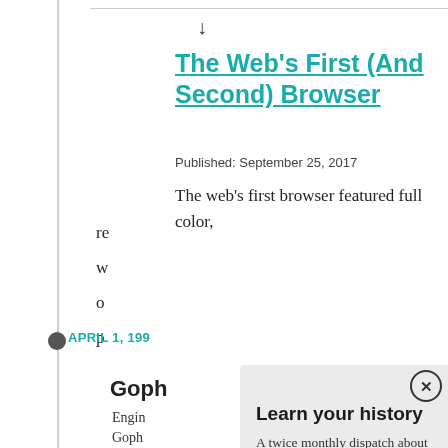The Web's First (And Second) Browser
Published: September 25, 2017
The web's first browser featured full color,
re
w
o
p
APRIL 1, 199
Goph
Engin
Goph
Learn your history
A twice monthly dispatch about the web's history, and the incredible people that built it.
Email address
SUBSCRIBE